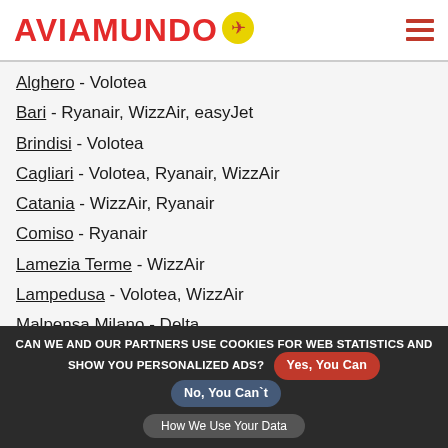AVIAMUNDO
Alghero - Volotea
Bari - Ryanair, WizzAir, easyJet
Brindisi - Volotea
Cagliari - Volotea, Ryanair, WizzAir
Catania - WizzAir, Ryanair
Comiso - Ryanair
Lamezia Terme - WizzAir
Lampedusa - Volotea, WizzAir
Malpensa Milano - Delta
Olbia - easyJet, Volotea...
CAN WE AND OUR PARTNERS USE COOKIES FOR WEB STATISTICS AND SHOW YOU PERSONALIZED ADS? Yes, You Can  No, You Can't  How We Use Your Data